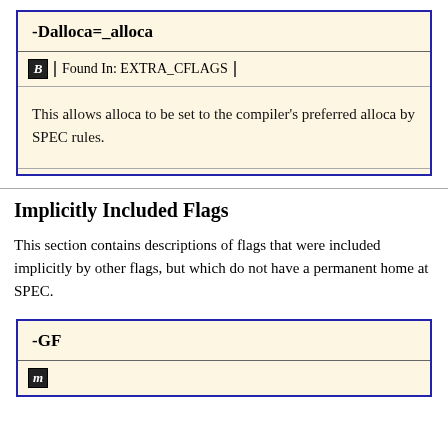-Dalloca=_alloca
Found In: EXTRA_CFLAGS
This allows alloca to be set to the compiler's preferred alloca by SPEC rules.
Implicitly Included Flags
This section contains descriptions of flags that were included implicitly by other flags, but which do not have a permanent home at SPEC.
-GF